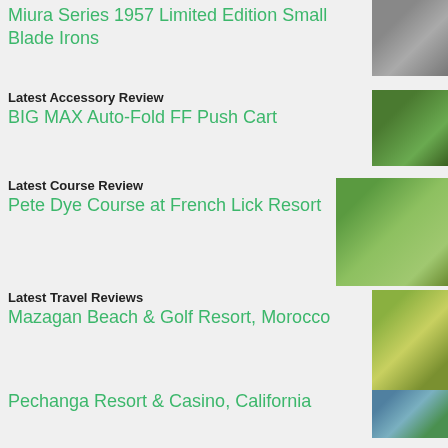Miura Series 1957 Limited Edition Small Blade Irons
Latest Accessory Review
BIG MAX Auto-Fold FF Push Cart
Latest Course Review
Pete Dye Course at French Lick Resort
Latest Travel Reviews
Mazagan Beach & Golf Resort, Morocco
Pechanga Resort & Casino, California
Fairmont Hotel - St Andrews, Scotland
HOG Interview